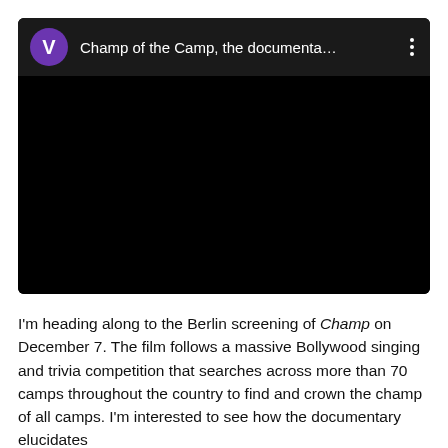[Figure (screenshot): A video player card with dark header showing a purple avatar circle with letter V, the title 'Champ of the Camp, the documenta...' in white text, a three-dot menu icon, and a black video area below.]
I'm heading along to the Berlin screening of Champ on December 7. The film follows a massive Bollywood singing and trivia competition that searches across more than 70 camps throughout the country to find and crown the champ of all camps. I'm interested to see how the documentary elucidates